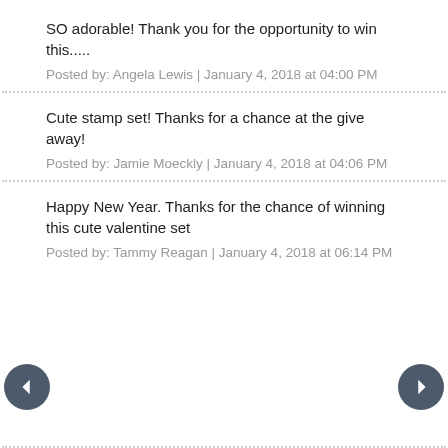SO adorable! Thank you for the opportunity to win this.....
Posted by: Angela Lewis | January 4, 2018 at 04:00 PM
Cute stamp set! Thanks for a chance at the give away!
Posted by: Jamie Moeckly | January 4, 2018 at 04:06 PM
Happy New Year. Thanks for the chance of winning this cute valentine set
Posted by: Tammy Reagan | January 4, 2018 at 06:14 PM